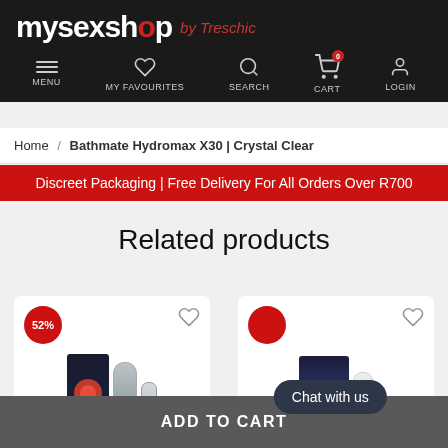mysexshop by Treschic — MENU | MY FAVOURITES | SEARCH | CART | LOGIN
Home / Bathmate Hydromax X30 | Crystal Clear
Discreet Packaging | Free Delivery For All Orders Over R700
Related products
[Figure (photo): Product card with 52% badge showing what appears to be HydroMax7 product box and components]
[Figure (photo): Product card with red badge and Chat with us overlay button showing product packaging]
ADD TO CART